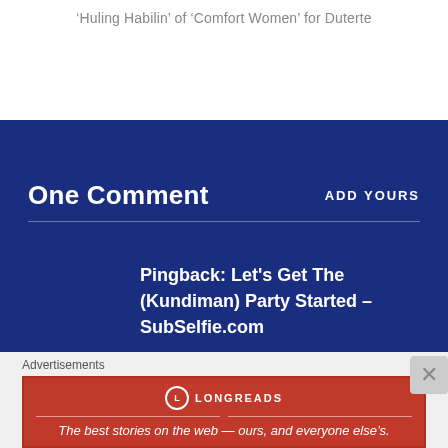‘Huling Habilin’ of ‘Comfort Women’ for Duterte
One Comment
ADD YOURS
Pingback: Let’s Get The (Kundiman) Party Started – SubSelfie.com
Advertisements
[Figure (other): Longreads advertisement banner: red background with Longreads logo and text 'The best stories on the web — ours, and everyone else’s.']